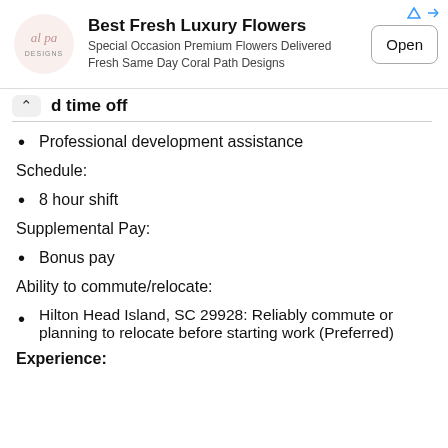[Figure (screenshot): Advertisement banner for 'Best Fresh Luxury Flowers' with logo, description text, and an Open button]
d time off
Professional development assistance
Schedule:
8 hour shift
Supplemental Pay:
Bonus pay
Ability to commute/relocate:
Hilton Head Island, SC 29928: Reliably commute or planning to relocate before starting work (Preferred)
Experience: